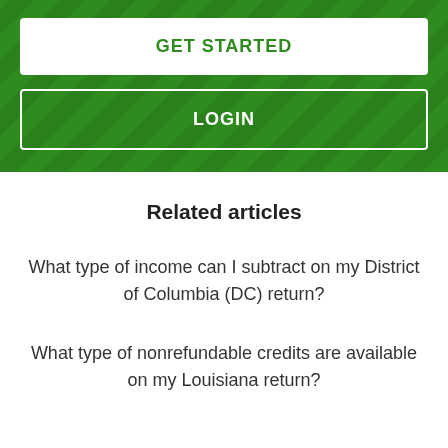[Figure (screenshot): Green banner with GET STARTED button (white background, green text) and LOGIN button (transparent with white border and text), on a dark green patterned background]
Related articles
What type of income can I subtract on my District of Columbia (DC) return?
What type of nonrefundable credits are available on my Louisiana return?